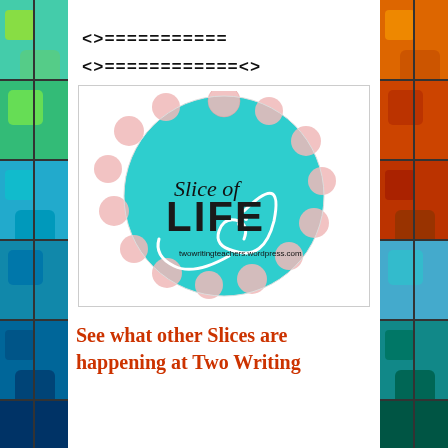<>==========
<>============<>
[Figure (logo): Slice of Life logo: teal circle with pink polka dots and white swirl, text 'Slice of LIFE' and twowritingteachers.wordpress.com]
See what other Slices are happening at Two Writing